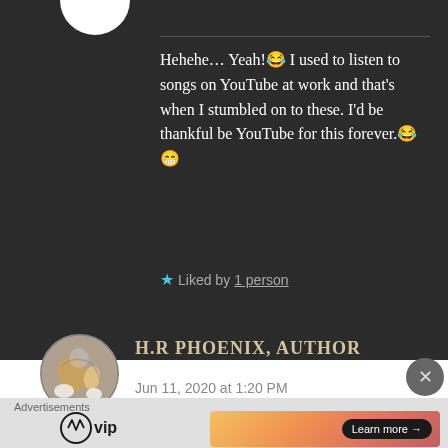Hehehe… Yeah!😂 I used to listen to songs on YouTube at work and that's when I stumbled on to these. I'd be thankful be YouTube for this forever.😂😁
★ Liked by 1 person
H.R PHOENIX, AUTHOR says: Jun 11, 2020 at 1:20 PM
Advertisements
[Figure (logo): WordPress VIP logo with text 'vip']
[Figure (illustration): Advertisement banner with orange/pink gradient and 'Learn more →' button]